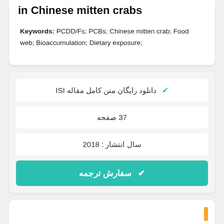in Chinese mitten crabs
Keywords: PCDD/Fs; PCBs; Chinese mitten crab; Food web; Bioaccumulation; Dietary exposure;
دانلود رایگان متن کامل مقاله ISI
37 صفحه
سال انتشار : 2018
✔ سفارش ترجمه